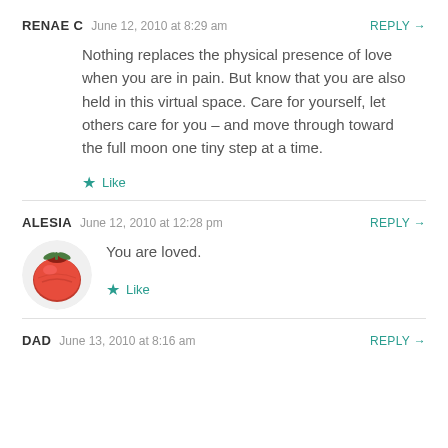RENAE C  June 12, 2010 at 8:29 am  REPLY →
Nothing replaces the physical presence of love when you are in pain. But know that you are also held in this virtual space. Care for yourself, let others care for you – and move through toward the full moon one tiny step at a time.
★ Like
ALESIA  June 12, 2010 at 12:28 pm  REPLY →
[Figure (photo): Round red tomato avatar image]
You are loved.
★ Like
DAD  June 13, 2010 at 8:16 am  REPLY →